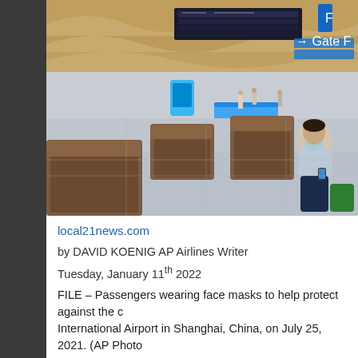[Figure (photo): Interior of a large airport terminal, nearly empty, with high curved ceiling, electronic departure boards, and seating areas. One passenger wearing a face mask sits in the foreground looking at a phone. A few distant figures walk in the background.]
local21news.com
by DAVID KOENIG AP Airlines Writer
Tuesday, January 11th 2022
FILE – Passengers wearing face masks to help protect against the c... International Airport in Shanghai, China, on July 25, 2021. (AP Photo...